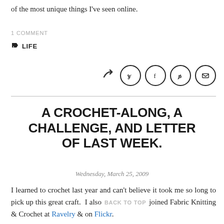of the most unique things I've seen online.
1 COMMENT
LIFE
[Figure (other): Share icons row: forward/share arrow, Twitter (y), Facebook (f), Pinterest (p), Email (envelope) — each in a circle]
A CROCHET-ALONG, A CHALLENGE, AND LETTER OF LAST WEEK.
Wednesday, March 25, 2009
I learned to crochet last year and can't believe it took me so long to pick up this great craft. I also joined Fabric Knitting & Crochet at Ravelry & on Flickr.